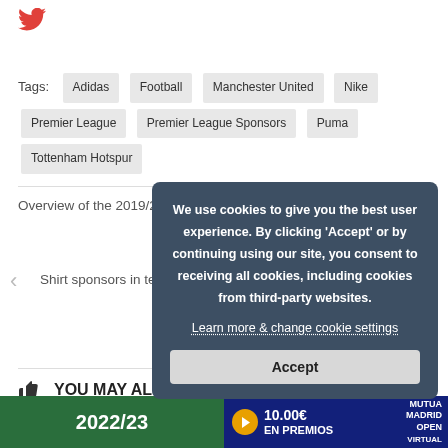[Figure (logo): Twitter bird logo in red/pink color]
Tags: Adidas Football Manchester United Nike Premier League Premier League Sponsors Puma Tottenham Hotspur
Overview of the 2019/2020 Bundesliga sponsors
Shirt sponsors in tennis: from Peugeot to Mary Cohr to HORT
YOU MAY ALSO LIKE
[Figure (screenshot): Cookie consent overlay on dark blue-grey background with Accept button]
[Figure (screenshot): Bottom cards: green card showing 2022/23, blue card showing 10.00€ EN PREMIOS with Madrid Open Virtual branding]